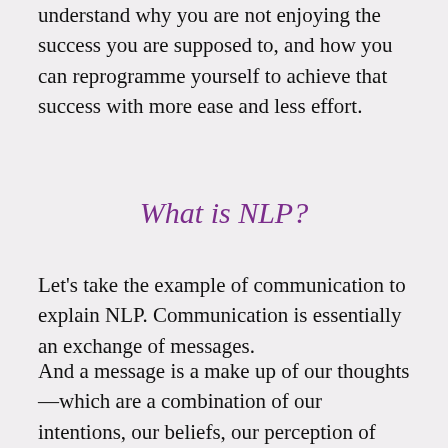understand why you are not enjoying the success you are supposed to, and how you can reprogramme yourself to achieve that success with more ease and less effort.
What is NLP?
Let's take the example of communication to explain NLP. Communication is essentially an exchange of messages.
And a message is a make up of our thoughts—which are a combination of our intentions, our beliefs, our perception of what's possible and the way we look at ourselves. These are all translated into our words and behaviours, and